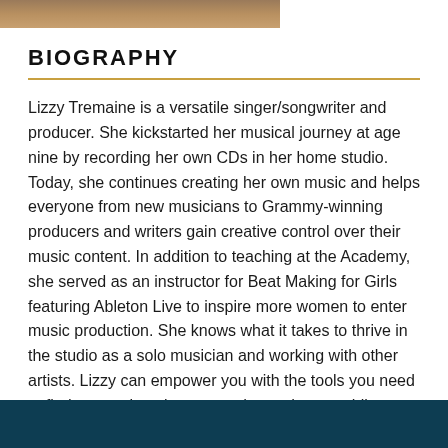[Figure (photo): Partial photo strip at top of page showing a person, cropped]
BIOGRAPHY
Lizzy Tremaine is a versatile singer/songwriter and producer. She kickstarted her musical journey at age nine by recording her own CDs in her home studio. Today, she continues creating her own music and helps everyone from new musicians to Grammy-winning producers and writers gain creative control over their music content. In addition to teaching at the Academy, she served as an instructor for Beat Making for Girls featuring Ableton Live to inspire more women to enter music production. She knows what it takes to thrive in the studio as a solo musician and working with other artists. Lizzy can empower you with the tools you need to find your unique beat — and sound great while doing it!